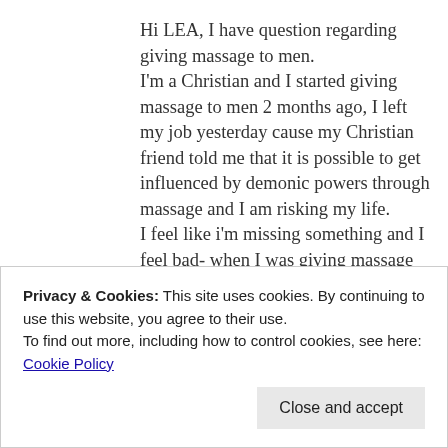Hi LEA, I have question regarding giving massage to men. I'm a Christian and I started giving massage to men 2 months ago, I left my job yesterday cause my Christian friend told me that it is possible to get influenced by demonic powers through massage and I am risking my life. I feel like i'm missing something and I feel bad- when I was giving massage to men, I didn't have any temptation or I was not thinking sexually about my clients. They were asking me to do things but I was always telling them that I cant and i'm a Christian.
Privacy & Cookies: This site uses cookies. By continuing to use this website, you agree to their use. To find out more, including how to control cookies, see here: Cookie Policy